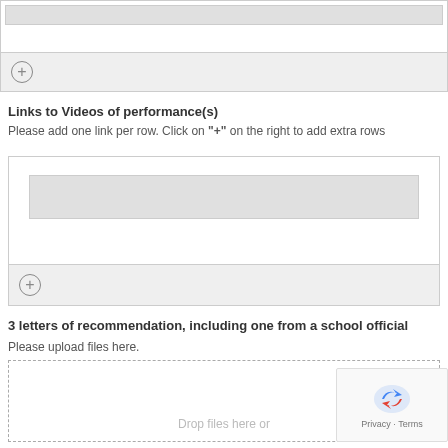[Figure (screenshot): Form input field with text box and add-row button with plus icon at top of page]
Links to Videos of performance(s)
Please add one link per row. Click on "+" on the right to add extra rows
[Figure (screenshot): Form block with text input and add-row plus button for video links]
3 letters of recommendation, including one from a school official
Please upload files here.
[Figure (screenshot): File upload drop zone with dashed border and 'Drop files here or' text]
[Figure (screenshot): reCAPTCHA widget with logo and Privacy/Terms links]